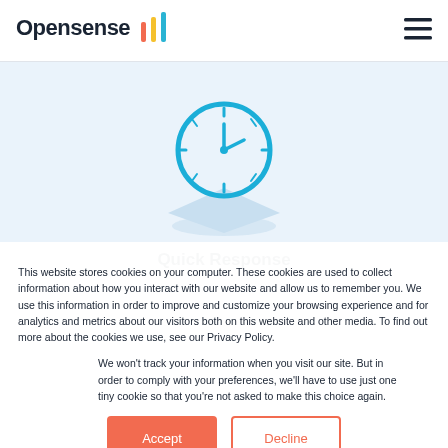Opensense [logo with colored bars icon] [hamburger menu]
[Figure (illustration): A teal/cyan clock icon on a light blue diamond/platform shape, set against a light blue hero background area]
Quick Response
This website stores cookies on your computer. These cookies are used to collect information about how you interact with our website and allow us to remember you. We use this information in order to improve and customize your browsing experience and for analytics and metrics about our visitors both on this website and other media. To find out more about the cookies we use, see our Privacy Policy.
We won't track your information when you visit our site. But in order to comply with your preferences, we'll have to use just one tiny cookie so that you're not asked to make this choice again.
Accept / Decline buttons